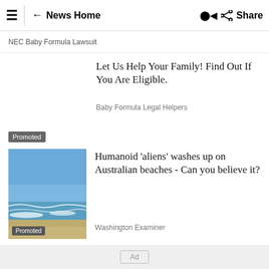≡ ← News Home  Share
NEC Baby Formula Lawsuit
Let Us Help Your Family! Find Out If You Are Eligible.
Baby Formula Legal Helpers
Promoted
[Figure (photo): Beach scene with ocean waves, blue sky, and sandy shore]
Humanoid 'aliens' washes up on Australian beaches - Can you believe it?
Washington Examiner
Promoted
Ad